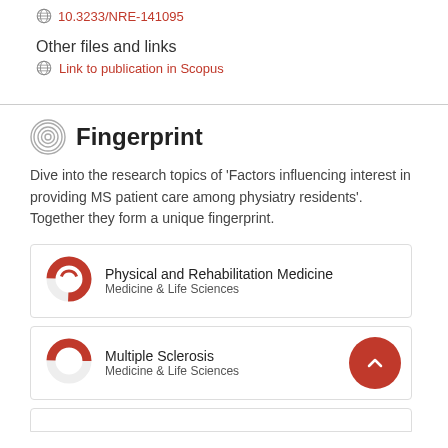10.3233/NRE-141095
Other files and links
Link to publication in Scopus
Fingerprint
Dive into the research topics of 'Factors influencing interest in providing MS patient care among physiatry residents'. Together they form a unique fingerprint.
Physical and Rehabilitation Medicine
Medicine & Life Sciences
Multiple Sclerosis
Medicine & Life Sciences